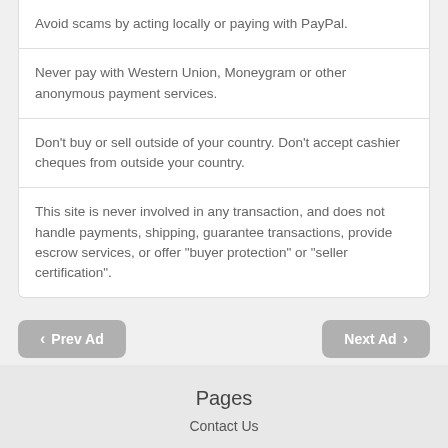Avoid scams by acting locally or paying with PayPal.
Never pay with Western Union, Moneygram or other anonymous payment services.
Don't buy or sell outside of your country. Don't accept cashier cheques from outside your country.
This site is never involved in any transaction, and does not handle payments, shipping, guarantee transactions, provide escrow services, or offer "buyer protection" or "seller certification".
< Prev Ad
Next Ad >
Pages
Contact Us